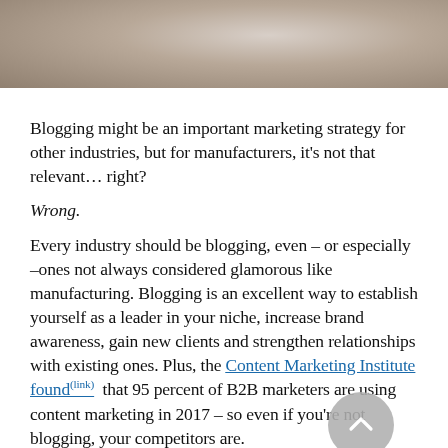[Figure (photo): Top portion of a photo showing hands on a laptop keyboard, cropped at the top of the page.]
Blogging might be an important marketing strategy for other industries, but for manufacturers, it’s not that relevant… right?
Wrong.
Every industry should be blogging, even – or especially –ones not always considered glamorous like manufacturing. Blogging is an excellent way to establish yourself as a leader in your niche, increase brand awareness, gain new clients and strengthen relationships with existing ones. Plus, the Content Marketing Institute foundⁿ that 95 percent of B2B marketers are using content marketing in 2017 – so even if you’re not blogging, your competitors are.
Here are five great reasons to create a blog for your manufacturing business.